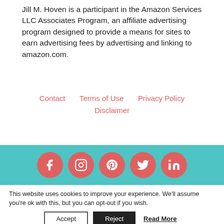Jill M. Hoven is a participant in the Amazon Services LLC Associates Program, an affiliate advertising program designed to provide a means for sites to earn advertising fees by advertising and linking to amazon.com.
Contact  Terms of Use  Privacy Policy  Disclaimer
[Figure (other): Social media icon bar with teal background containing circular salmon/pink icons for Facebook, Instagram, Pinterest, Twitter, and LinkedIn]
This website uses cookies to improve your experience. We'll assume you're ok with this, but you can opt-out if you wish.
Accept  Reject  Read More